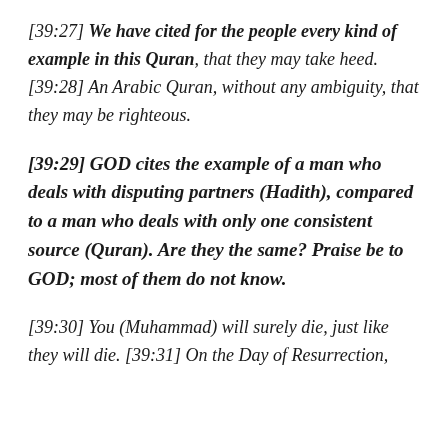[39:27] We have cited for the people every kind of example in this Quran, that they may take heed. [39:28] An Arabic Quran, without any ambiguity, that they may be righteous.
[39:29] GOD cites the example of a man who deals with disputing partners (Hadith), compared to a man who deals with only one consistent source (Quran). Are they the same? Praise be to GOD; most of them do not know.
[39:30] You (Muhammad) will surely die, just like they will die. [39:31] On the Day of Resurrection,